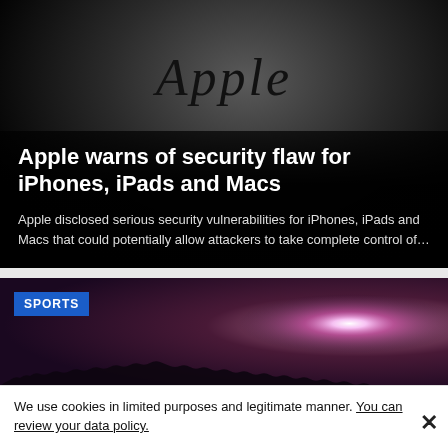[Figure (photo): Close-up photo of an Apple logo and the word Apple on a dark grey/black reflective surface]
Apple warns of security flaw for iPhones, iPads and Macs
Apple disclosed serious security vulnerabilities for iPhones, iPads and Macs that could potentially allow attackers to take complete control of…
[Figure (photo): Sports event photo showing fireworks or pyrotechnics with a bright pink/purple light burst against a dark night sky, with crowd silhouettes at the bottom. SPORTS badge label in top left.]
We use cookies in limited purposes and legitimate manner. You can review your data policy.